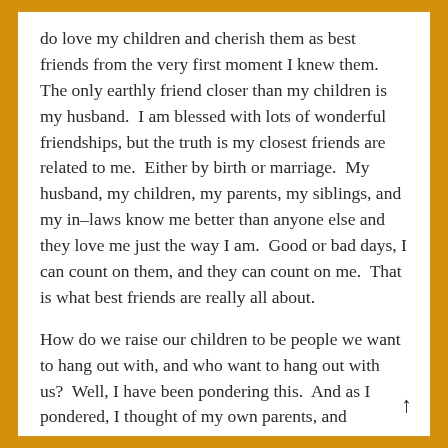do love my children and cherish them as best friends from the very first moment I knew them. The only earthly friend closer than my children is my husband. I am blessed with lots of wonderful friendships, but the truth is my closest friends are related to me. Either by birth or marriage. My husband, my children, my parents, my siblings, and my in–laws know me better than anyone else and they love me just the way I am. Good or bad days, I can count on them, and they can count on me. That is what best friends are really all about.
How do we raise our children to be people we want to hang out with, and who want to hang out with us? Well, I have been pondering this. And as I pondered, I thought of my own parents, and siblings. I thought of my adult children, and my one year old. I thought of how differently I think about discipline now, compared to what I did when